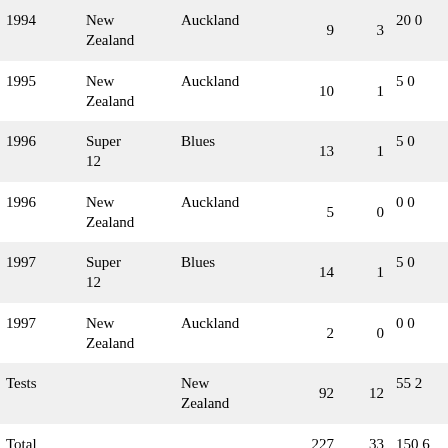| Year | Competition | Team | Apps | Tries | Points |  |
| --- | --- | --- | --- | --- | --- | --- |
| 1994 | New Zealand | Auckland | 9 | 3 | 20 | 0 |
| 1995 | New Zealand | Auckland | 10 | 1 | 5 | 0 |
| 1996 | Super 12 | Blues | 13 | 1 | 5 | 0 |
| 1996 | New Zealand | Auckland | 5 | 0 | 0 | 0 |
| 1997 | Super 12 | Blues | 14 | 1 | 5 | 0 |
| 1997 | New Zealand | Auckland | 2 | 0 | 0 | 0 |
| Tests |  | New Zealand | 92 | 12 | 55 | 2 |
| Total |  |  | 227 | 33 | 150 | 6 |